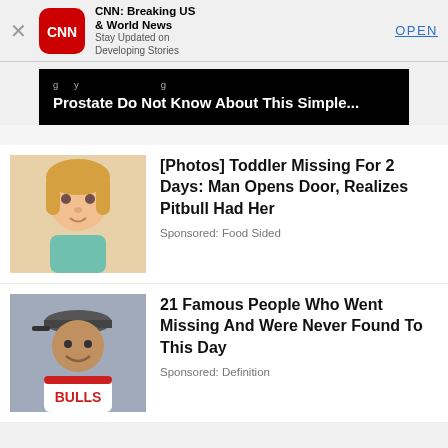[Figure (screenshot): CNN app install banner with red CNN logo icon, app name 'CNN: Breaking US & World News', description 'Stay Updated on Developing Stories', and OPEN button]
Prostate Do Not Know About This Simple...
[Figure (photo): Photo of a young toddler girl with blonde hair and teal shirt]
[Photos] Toddler Missing For 2 Days: Man Opens Door, Realizes Pitbull Had Her
Sponsored: Food Sided
[Figure (photo): Photo of a man in a Chicago Bulls basketball jersey and baseball cap]
21 Famous People Who Went Missing And Were Never Found To This Day
Sponsored: Definition